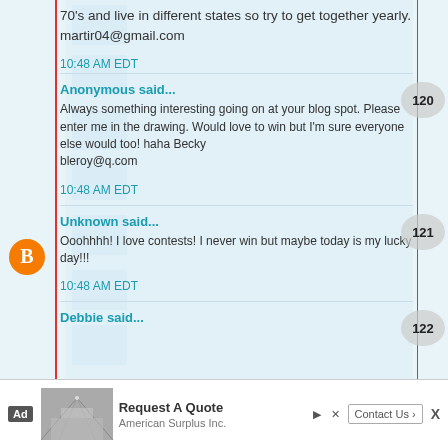70's and live in different states so try to get together yearly. martir04@gmail.com
10:48 AM EDT
Anonymous said...
Always something interesting going on at your blog spot. Please enter me in the drawing. Would love to win but I'm sure everyone else would too! haha Becky
bleroy@q.com
10:48 AM EDT
Unknown said...
Ooohhhh! I love contests! I never win but maybe today is my lucky day!!!
10:48 AM EDT
Debbie said...
[Figure (other): Advertisement banner: Ad label, warehouse image, Request A Quote from American Surplus Inc., Contact Us button]